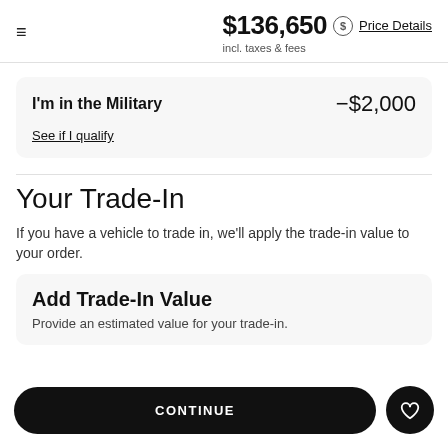$136,650 incl. taxes & fees — Price Details
I'm in the Military −$2,000
See if I qualify
Your Trade-In
If you have a vehicle to trade in, we'll apply the trade-in value to your order.
Add Trade-In Value
Provide an estimated value for your trade-in.
CONTINUE